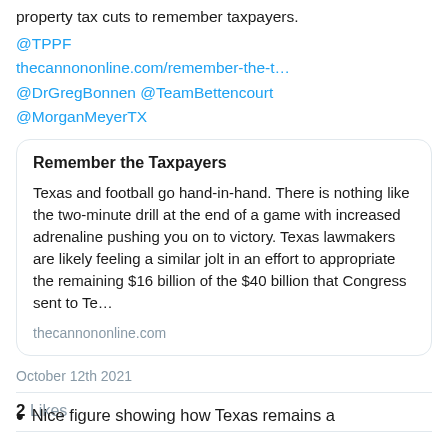property tax cuts to remember taxpayers.
@TPPF
thecannononline.com/remember-the-t…
@DrGregBonnen @TeamBettencourt
@MorganMeyerTX
[Figure (screenshot): Embedded link card with title 'Remember the Taxpayers' and excerpt about Texas and football, from thecannononline.com]
October 12th 2021
2 Likes
Nice figure showing how Texas remains a